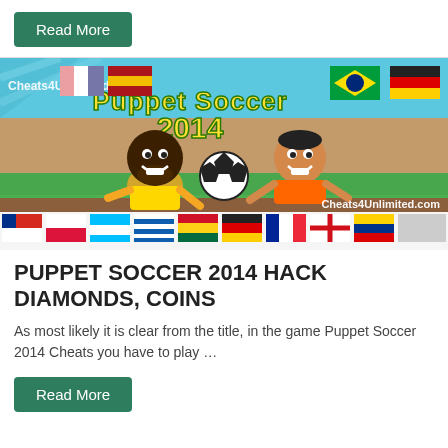[Figure (screenshot): Top 'Read More' green button area at top of page]
[Figure (screenshot): Puppet Soccer 2014 game promotional banner image showing cartoon soccer players, a soccer ball, flags of various countries, the text 'Puppet Soccer 2014' in yellow/green, and 'Cheats4Unlimited.com' watermark]
PUPPET SOCCER 2014 HACK DIAMONDS, COINS
As most likely it is clear from the title, in the game Puppet Soccer 2014 Cheats you have to play …
[Figure (screenshot): Bottom 'Read More' green button]